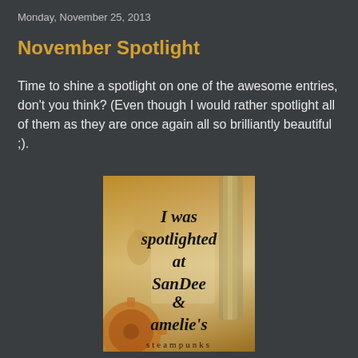Monday, November 25, 2013
November Spotlight
Time to shine a spotlight on one of the awesome entries, don't you think? (Even though I would rather spotlight all of them as they are once again all so brilliantly beautiful ;).
[Figure (illustration): Badge image with text: 'I was spotlighted at SanDee & amelie's steampunks' on a vintage/steampunk themed background with gears and aged texture]